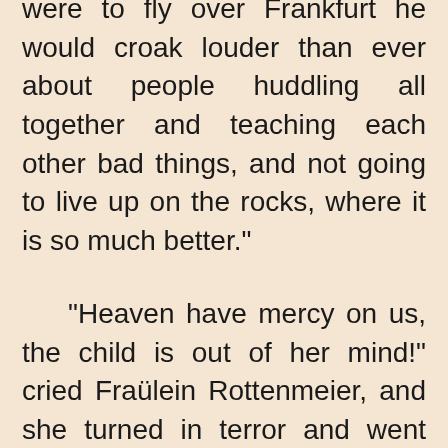were to fly over Frankfurt he would croak louder than ever about people huddling all together and teaching each other bad things, and not going to live up on the rocks, where it is so much better."
"Heaven have mercy on us, the child is out of her mind!" cried Fraülein Rottenmeier, and she turned in terror and went quickly up the steps, running violently